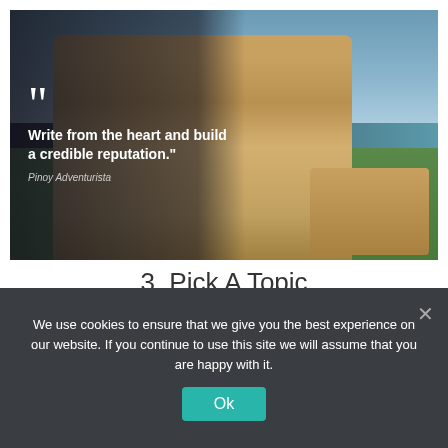[Figure (photo): A man in traditional Filipino woven grass cape and hat smiling outdoors by the sea, with a quote overlay: 'Write from the heart and build a credible reputation.' attributed to Pinoy Adventurista]
3. Pick A Topic
We use cookies to ensure that we give you the best experience on our website. If you continue to use this site we will assume that you are happy with it.